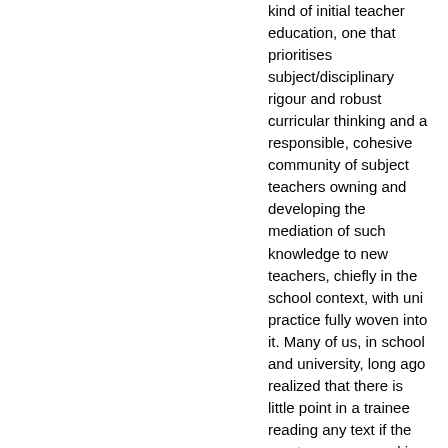kind of initial teacher education, one that prioritises subject/disciplinary rigour and robust curricular thinking and a responsible, cohesive community of subject teachers owning and developing the mediation of such knowledge to new teachers, chiefly in the school context, with uni practice fully woven into it. Many of us, in school and university, long ago realized that there is little point in a trainee reading any text if the mentor you are working with in school can't help you think about it or use it. Mentors must model a passion for useful professional and scholarly reading and know how to show the trainee how to make use of it. A strong subject-driven partnership is well-placed to make that happen. Debra Kidd, above, is right: experienced teachers, those acting as mentors, need to read. Only thus can they make sure that their subject course (and it should be 'theirs', whatever the provider structure) is tapping trainees into the collective, formal and emergent knowledge of the school-based subject community, especially writing by subject teachers, as well as the wider disciplinary community to whom the school subject refers.